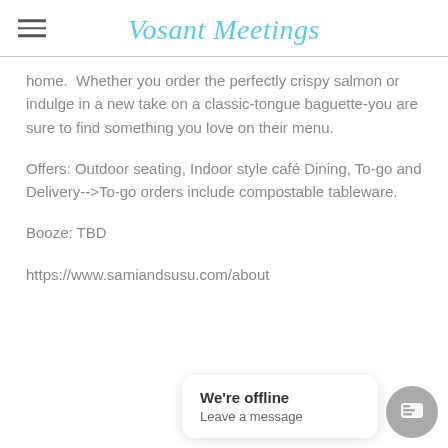Vosant Meetings
home.  Whether you order the perfectly crispy salmon or indulge in a new take on a classic-tongue baguette-you are sure to find something you love on their menu.
Offers: Outdoor seating, Indoor style café Dining, To-go and Delivery-->To-go orders include compostable tableware.
Booze: TBD
https://www.samiandsusu.com/about
[Figure (screenshot): Chat widget popup saying 'We're offline / Leave a message' with a grey circular chat button icon]